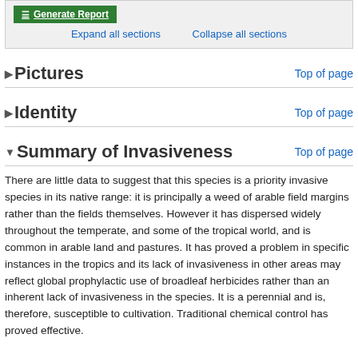[Figure (screenshot): Generate Report button with hamburger menu icon, green background with white text]
Expand all sections    Collapse all sections
▶Pictures    Top of page
▶Identity    Top of page
▼Summary of Invasiveness    Top of page
There are little data to suggest that this species is a priority invasive species in its native range: it is principally a weed of arable field margins rather than the fields themselves. However it has dispersed widely throughout the temperate, and some of the tropical world, and is common in arable land and pastures. It has proved a problem in specific instances in the tropics and its lack of invasiveness in other areas may reflect global prophylactic use of broadleaf herbicides rather than an inherent lack of invasiveness in the species. It is a perennial and is, therefore, susceptible to cultivation. Traditional chemical control has proved effective.